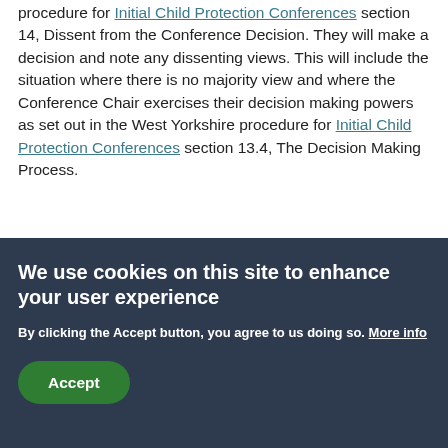procedure for Initial Child Protection Conferences section 14, Dissent from the Conference Decision. They will make a decision and note any dissenting views. This will include the situation where there is no majority view and where the Conference Chair exercises their decision making powers as set out in the West Yorkshire procedure for Initial Child Protection Conferences section 13.4, The Decision Making Process.
We use cookies on this site to enhance your user experience
By clicking the Accept button, you agree to us doing so. More info
Accept